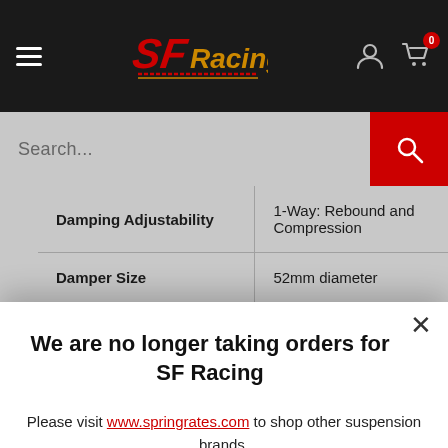[Figure (screenshot): SF Racing website navigation bar with hamburger menu, SF Racing logo in red/gold, user account icon, and cart icon with 0 badge on dark background]
[Figure (screenshot): Search bar with placeholder text 'Search...' and red search button with magnifying glass icon]
| Attribute | Value |
| --- | --- |
| Damping Adjustability | 1-Way: Rebound and Compression |
| Damper Size | 52mm diameter |
| Spring Rates | Front: 6 kg/mm |
We are no longer taking orders for SF Racing
Please visit www.springrates.com to shop other suspension brands.